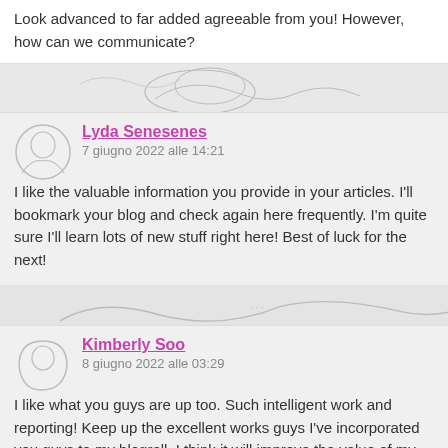Look advanced to far added agreeable from you! However, how can we communicate?
Lyda Senesenes
7 giugno 2022 alle 14:21
I like the valuable information you provide in your articles. I'll bookmark your blog and check again here frequently. I'm quite sure I'll learn lots of new stuff right here! Best of luck for the next!
Kimberly Soo
8 giugno 2022 alle 03:29
I like what you guys are up too. Such intelligent work and reporting! Keep up the excellent works guys I've incorporated you guys to my blogroll. I think it will improve the value of my web site .
Moises Fierros
8 giugno 2022 alle 03:31
F*ckin' awesome issues here. I am very happy to look your post. Tha